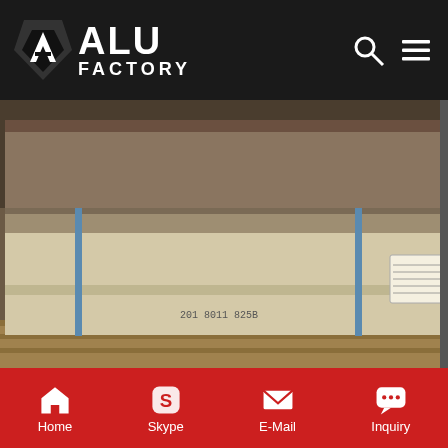ALU FACTORY
[Figure (photo): Aluminum honeycomb composite panels wrapped in plastic film and strapped with blue metal bands on a wooden pallet, with a label tag visible in the center]
PVDF Black Color Aluminum Honeycomb Core Composite China PVDF Black Color Aluminum Honeycomb Core Composite Panel, Find details about China Honeycomb Composite Panel, Aluminum Honeycomb from PVDF Black Color Aluminum Honeycomb Core Composite Panel - Foshan Alucrown Building Materials Co., Ltd.
Get Price
Home  Skype  E-Mail  Inquiry